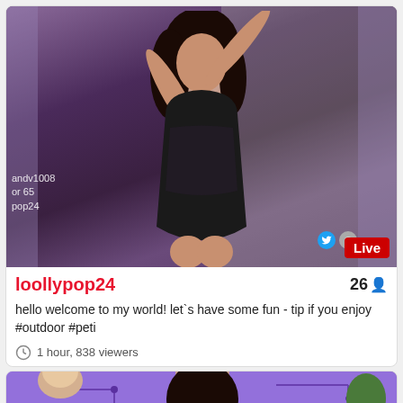[Figure (photo): Live streaming card showing a woman in a black bodysuit posing in a room with purple lighting, curtains, and wooden furniture. A red 'Live' badge is visible in the bottom right of the video.]
loollypop24
26
hello welcome to my world! let`s have some fun - tip if you enjoy #outdoor #peti
1 hour, 838 viewers
[Figure (screenshot): Bottom portion of a second live stream card showing a purple-toned room with circuit board overlay graphics and a person visible.]